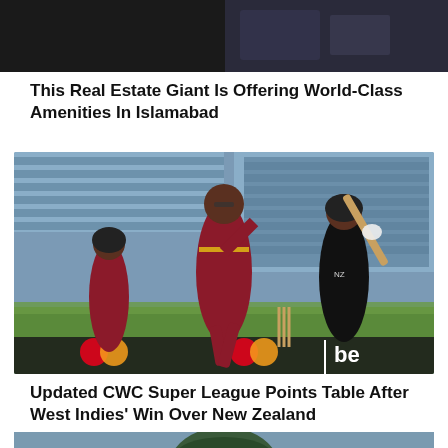[Figure (photo): Top portion of a news article image, dark background with partial content visible]
This Real Estate Giant Is Offering World-Class Amenities In Islamabad
[Figure (photo): Cricket match action photo — West Indies bowler running, New Zealand batsman in black kit with bat raised, stadium seating in background, Mastercard and bet365 sponsor boards visible]
Updated CWC Super League Points Table After West Indies' Win Over New Zealand
[Figure (photo): Partial bottom image of a cricketer, only top portion visible]